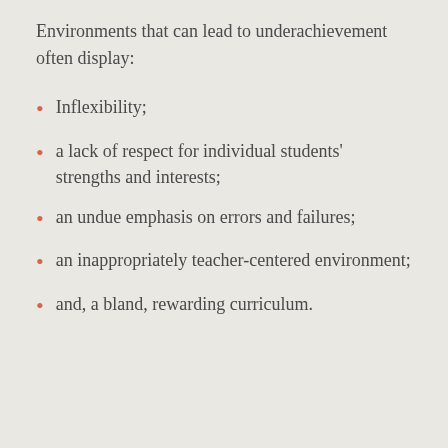Environments that can lead to underachievement often display:
Inflexibility;
a lack of respect for individual students' strengths and interests;
an undue emphasis on errors and failures;
an inappropriately teacher-centered environment;
and, a bland, rewarding curriculum.